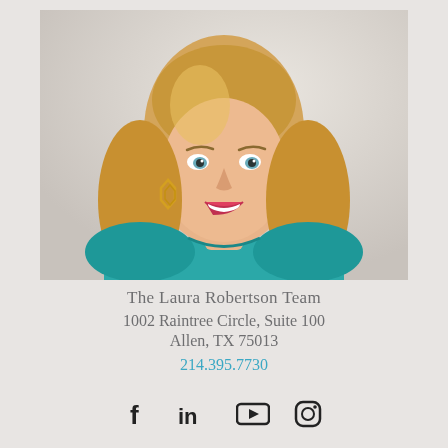[Figure (photo): Professional headshot of a smiling blonde woman wearing a teal sleeveless dress and gold geometric earrings, photographed against a light background.]
The Laura Robertson Team
1002 Raintree Circle, Suite 100
Allen, TX 75013
214.395.7730
[Figure (other): Social media icons row: Facebook, LinkedIn, YouTube, Instagram]